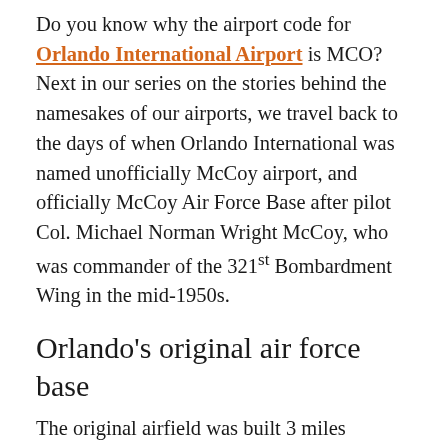Do you know why the airport code for Orlando International Airport is MCO? Next in our series on the stories behind the namesakes of our airports, we travel back to the days of when Orlando International was named unofficially McCoy airport, and officially McCoy Air Force Base after pilot Col. Michael Norman Wright McCoy, who was commander of the 321st Bombardment Wing in the mid-1950s.
Orlando's original air force base
The original airfield was built 3 miles southeast of Orlando in 1942, at what is now Orlando Executive Airport (ORL) (and the home base of Stratos Jet Charters), as a Second World War